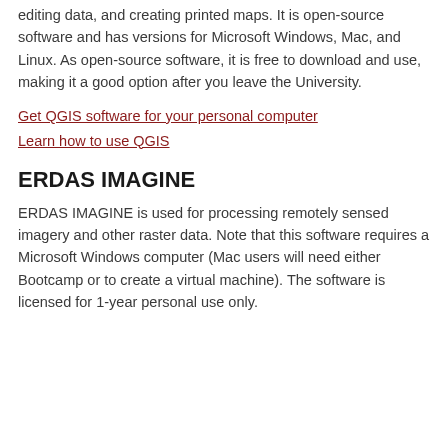editing data, and creating printed maps. It is open-source software and has versions for Microsoft Windows, Mac, and Linux. As open-source software, it is free to download and use, making it a good option after you leave the University.
Get QGIS software for your personal computer
Learn how to use QGIS
ERDAS IMAGINE
ERDAS IMAGINE is used for processing remotely sensed imagery and other raster data. Note that this software requires a Microsoft Windows computer (Mac users will need either Bootcamp or to create a virtual machine). The software is licensed for 1-year personal use only.